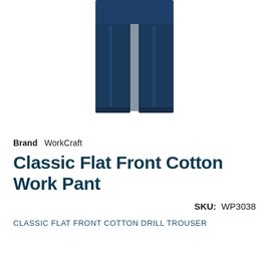[Figure (photo): Navy blue classic flat front cotton work trousers/pants displayed on white background, showing the lower half of the garment from waist to ankle]
Brand  WorkCraft
Classic Flat Front Cotton Work Pant
SKU:  WP3038
CLASSIC FLAT FRONT COTTON DRILL TROUSER